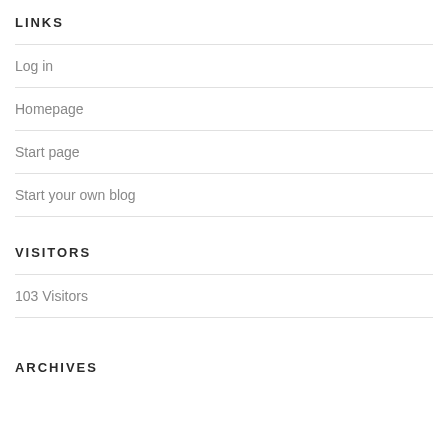LINKS
Log in
Homepage
Start page
Start your own blog
VISITORS
103 Visitors
ARCHIVES